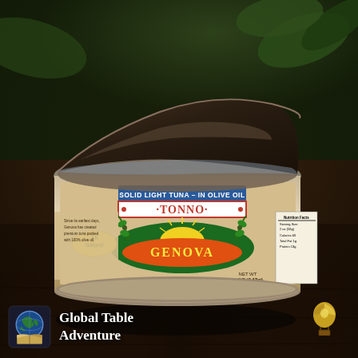[Figure (photo): A opened can of Genova Tonno solid light tuna in olive oil sitting on a dark wooden table, with the lid partially peeled back revealing the tuna inside. The can label shows 'Solid Light Tuna - In Olive Oil', 'TONNO', 'All Natural', 'GENOVA', and 'NET WT 5 OZ (142g)'. Green plants visible in background.]
[Figure (logo): Global Table Adventure logo: a square icon with a globe/map graphic on the left, and the text 'Global Table Adventure' on the right in white bold serif font. A small hot air balloon icon appears to the right side at bottom.]